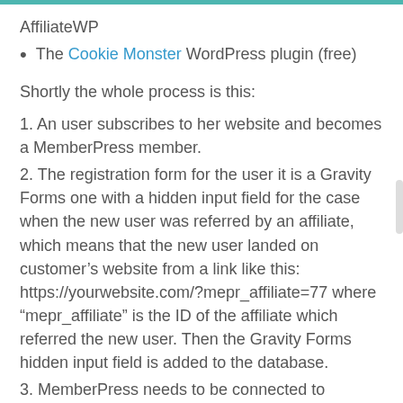AffiliateWP
The Cookie Monster WordPress plugin (free)
Shortly the whole process is this:
1. An user subscribes to her website and becomes a MemberPress member.
2. The registration form for the user it is a Gravity Forms one with a hidden input field for the case when the new user was referred by an affiliate, which means that the new user landed on customer’s website from a link like this: https://yourwebsite.com/?mepr_affiliate=77 where “mepr_affiliate” is the ID of the affiliate which referred the new user. Then the Gravity Forms hidden input field is added to the database.
3. MemberPress needs to be connected to